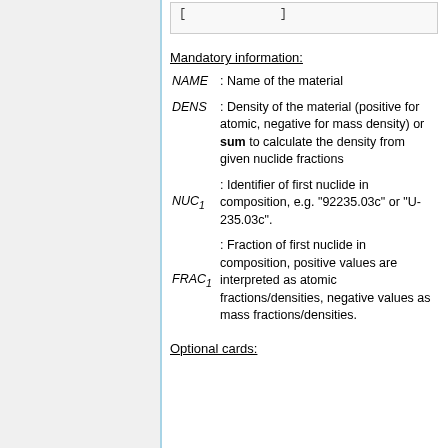[ ... ]
Mandatory information:
NAME : Name of the material
DENS : Density of the material (positive for atomic, negative for mass density) or sum to calculate the density from given nuclide fractions
NUC1 : Identifier of first nuclide in composition, e.g. "92235.03c" or "U-235.03c".
FRAC1 : Fraction of first nuclide in composition, positive values are interpreted as atomic fractions/densities, negative values as mass fractions/densities.
Optional cards: